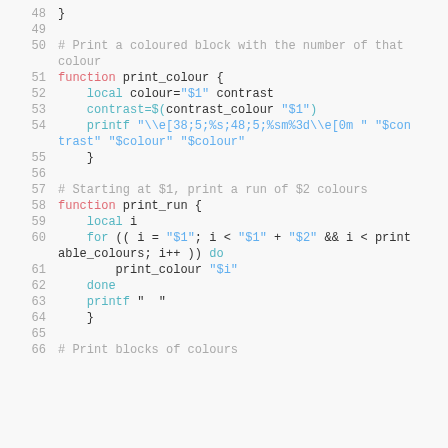Code listing lines 48-66, bash script with print_colour and print_run functions